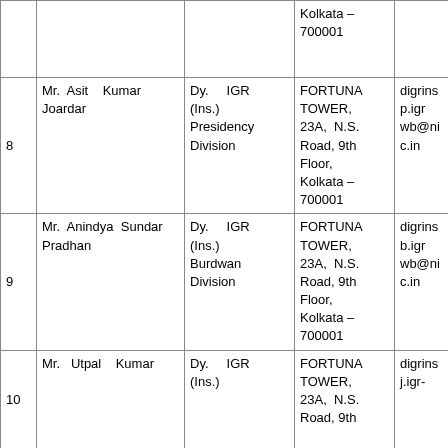| No. | Name | Designation | Address | Email |
| --- | --- | --- | --- | --- |
|  |  |  | Kolkata – 700001 |  |
| 8 | Mr. Asit Kumar Joardar | Dy. IGR (Ins.) Presidency Division | FORTUNA TOWER, 23A, N.S. Road, 9th Floor, Kolkata – 700001 | digrinsp.igrwb@nic.in |
| 9 | Mr. Anindya Sundar Pradhan | Dy. IGR (Ins.) Burdwan Division | FORTUNA TOWER, 23A, N.S. Road, 9th Floor, Kolkata – 700001 | digrinsb.igrwb@nic.in |
| 10 | Mr. Utpal Kumar | Dy. IGR (Ins.) | FORTUNA TOWER, 23A, N.S. Road, 9th | digrinsj.igr- |